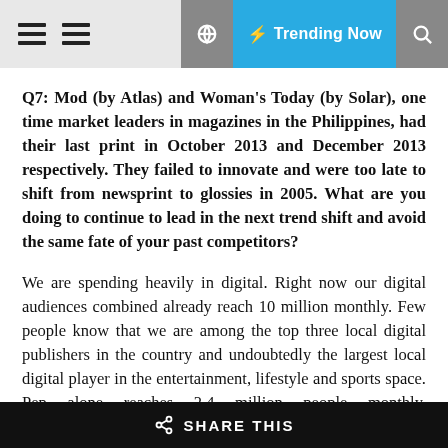Trending Now
Q7: Mod (by Atlas) and Woman's Today (by Solar), one time market leaders in magazines in the Philippines, had their last print in October 2013 and December 2013 respectively. They failed to innovate and were too late to shift from newsprint to glossies in 2005. What are you doing to continue to lead in the next trend shift and avoid the same fate of your past competitors?
We are spending heavily in digital. Right now our digital audiences combined already reach 10 million monthly. Few people know that we are among the top three local digital publishers in the country and undoubtedly the largest local digital player in the entertainment, lifestyle and sports space. Pep alone reaches 2.4 million people monthly. Topgear.com.ph has over 1.1 million monthly visitors. Cosmo.ph the same. If we add up our men's websites, we reach close to 4 million readers monthly.
SHARE THIS